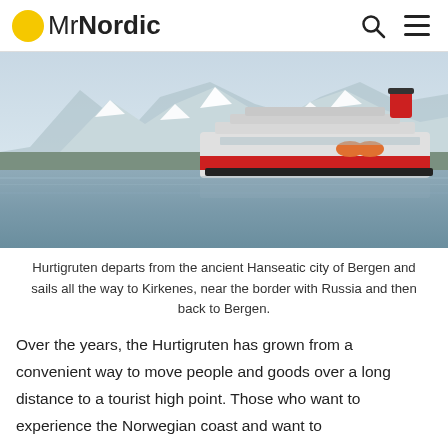MrNordic
[Figure (photo): A large cruise ship (Hurtigruten) with red and white hull sailing on calm water with snow-capped mountains in the background.]
Hurtigruten departs from the ancient Hanseatic city of Bergen and sails all the way to Kirkenes, near the border with Russia and then back to Bergen.
Over the years, the Hurtigruten has grown from a convenient way to move people and goods over a long distance to a tourist high point. Those who want to experience the Norwegian coast and want to